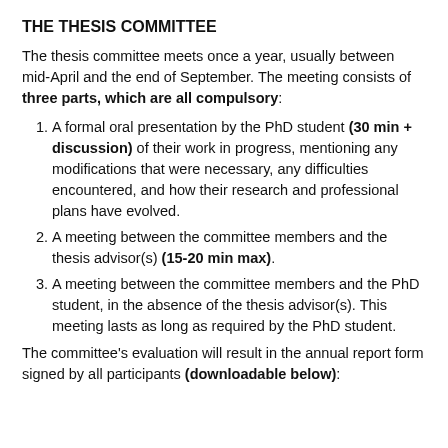THE THESIS COMMITTEE
The thesis committee meets once a year, usually between mid-April and the end of September. The meeting consists of three parts, which are all compulsory:
A formal oral presentation by the PhD student (30 min + discussion) of their work in progress, mentioning any modifications that were necessary, any difficulties encountered, and how their research and professional plans have evolved.
A meeting between the committee members and the thesis advisor(s) (15-20 min max).
A meeting between the committee members and the PhD student, in the absence of the thesis advisor(s). This meeting lasts as long as required by the PhD student.
The committee's evaluation will result in the annual report form signed by all participants (downloadable below):